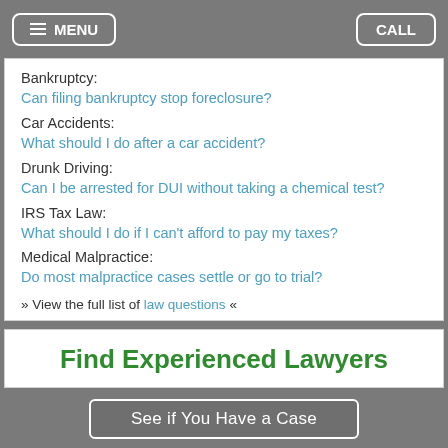MENU  CALL
Bankruptcy:
Can filing bankruptcy stop foreclosure?
Car Accidents:
What should I do after a car accident?
Drunk Driving:
Can I be arrested for DUI without taking a chemical test?
IRS Tax Law:
What should I do if I can't afford to pay my taxes?
Medical Malpractice:
Do most malpractice cases settle or go to trial?
» View the full list of law questions «
Find Experienced Lawyers
See if You Have a Case